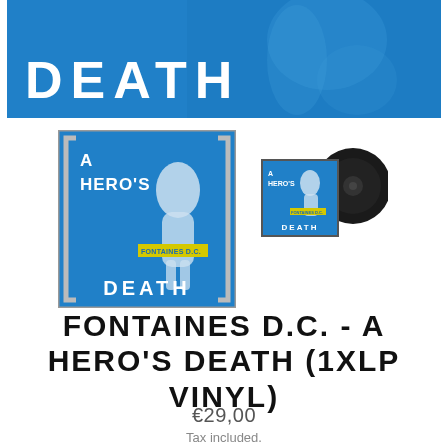[Figure (photo): Blue banner with the word DEATH in large white bold letters, with a faint stone statue texture in the background]
[Figure (photo): Large album cover for Fontaines D.C. - A Hero's Death: blue background with white statue, bracket design, text A HERO'S DEATH and FONTAINES D.C. yellow label]
[Figure (photo): Small album cover packshot with vinyl record disc beside it]
FONTAINES D.C. - A HERO'S DEATH (1XLP VINYL)
€29,00
Tax included.